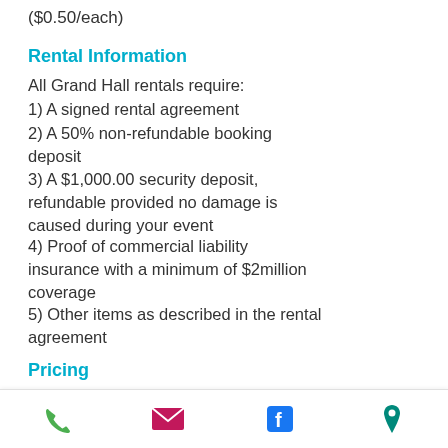($0.50/each)
Rental Information
All Grand Hall rentals require:
1) A signed rental agreement
2) A 50% non-refundable booking deposit
3) A $1,000.00 security deposit, refundable provided no damage is caused during your event
4) Proof of commercial liability insurance with a minimum of $2million coverage
5) Other items as described in the rental agreement
Pricing
We recommend that you contact us at least 6-8 months ahead of your event date to secure availability. We take bookings up to 24 months in advance.
Daily Rental Rate (Weekdays)
Available Monday, Tuesday,